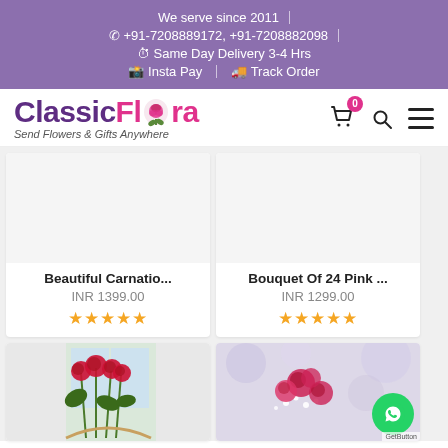We serve since 2011 | ☎ +91-7208889172, +91-7208882098 | ⏱ Same Day Delivery 3-4 Hrs | 💳 Insta Pay | 🚚 Track Order
[Figure (logo): ClassicFlora logo with rose icon, tagline: Send Flowers & Gifts Anywhere]
Beautiful Carnatio... INR 1399.00 ★★★★★
Bouquet Of 24 Pink ... INR 1299.00 ★★★★★
[Figure (photo): Red roses bouquet photo in bottom left product card]
[Figure (photo): Pink flower bouquet photo in bottom right product card]